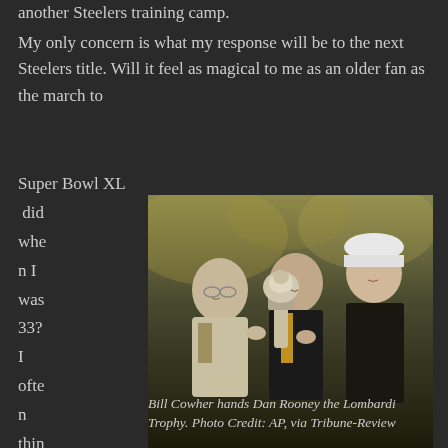another Steelers training camp.
My only concern is what my response will be to the next Steelers title. Will it feel as magical to me as an older fan as the march to
Super Bowl XL did when I was 33? I often think back to that two
[Figure (photo): Bill Cowher hands Dan Rooney the Lombardi Trophy. Three men posing with the Lombardi Trophy.]
Bill Cowher hands Dan Rooney the Lombardi Trophy. Photo Credit: AP, via Tribune-Review